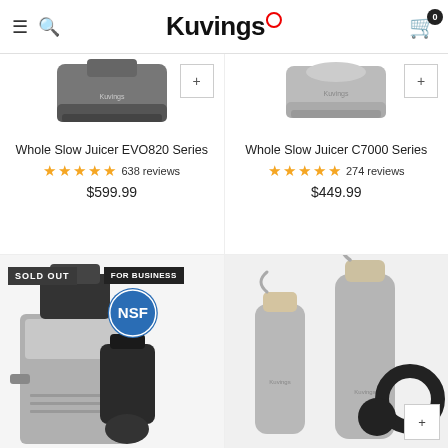Kuvings
[Figure (photo): Whole Slow Juicer EVO820 Series product image - dark gray juicer base]
Whole Slow Juicer EVO820 Series
★★★★★ 638 reviews
$599.99
[Figure (photo): Whole Slow Juicer C7000 Series product image - silver juicer base]
Whole Slow Juicer C7000 Series
★★★★★ 274 reviews
$449.99
[Figure (photo): Sold out commercial slow juicer with NSF For Business badge and juicer attachment]
[Figure (photo): Two Kuvings stainless steel water bottles with bamboo caps and black strap accessory]